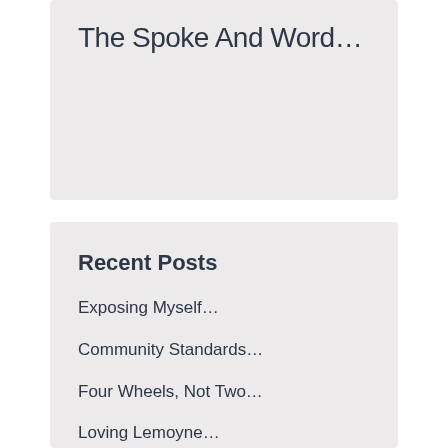The Spoke And Word…
Recent Posts
Exposing Myself…
Community Standards…
Four Wheels, Not Two…
Loving Lemoyne…
Shedding Meat…